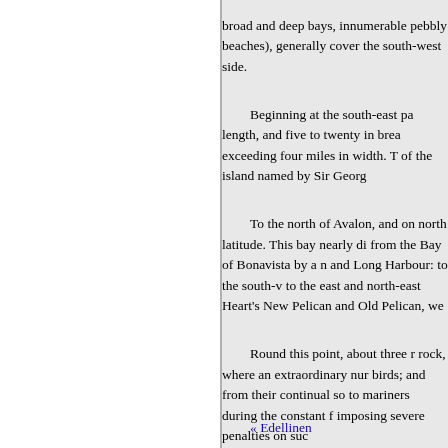broad and deep bays, innumerable pebbly beaches), generally cover the south-west side.
Beginning at the south-east pa length, and five to twenty in brea exceeding four miles in width. T of the island named by Sir Georg
To the north of Avalon, and on north latitude. This bay nearly di from the Bay of Bonavista by a n and Long Harbour: to the south-v to the east and north-east Heart's New Pelican and Old Pelican, we
Round this point, about three r rock, where an extraordinary nur birds; and from their continual so to mariners during the constant f imposing severe penalties on suc
Conception Bay ranks as the f
« Edellinen